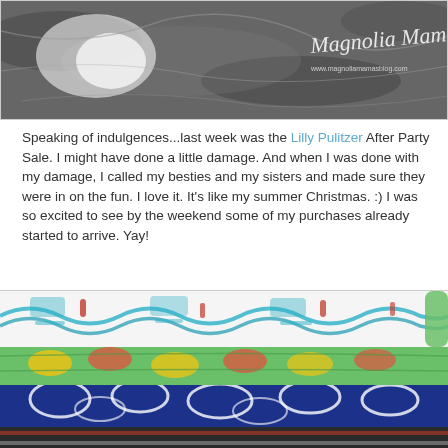[Figure (photo): Top portion of a blog photo showing a granite countertop with 'Magnolia Mamas' watermark text and blog URL]
Speaking of indulgences...last week was the Lilly Pulitzer After Party Sale. I might have done a little damage. And when I was done with my damage, I called my besties and my sisters and made sure they were in on the fun. I love it. It's like my summer Christmas. :) I was so excited to see by the weekend some of my purchases already started to arrive. Yay!
[Figure (photo): Stack of folded colorful patterned fabrics/clothes from Lilly Pulitzer After Party Sale — white with teal/red patterns on top, green patterned in middle, navy blue with white pattern below, multicolor striped at bottom]